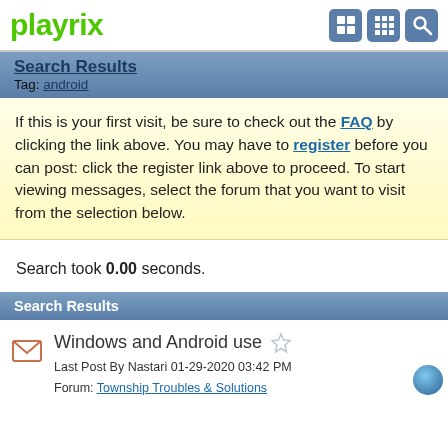playrix
Search Results
Tag: android
If this is your first visit, be sure to check out the FAQ by clicking the link above. You may have to register before you can post: click the register link above to proceed. To start viewing messages, select the forum that you want to visit from the selection below.
Search took 0.00 seconds.
Search Results
Windows and Android use
Last Post By Nastari 01-29-2020 03:42 PM
Forum: Township Troubles & Solutions